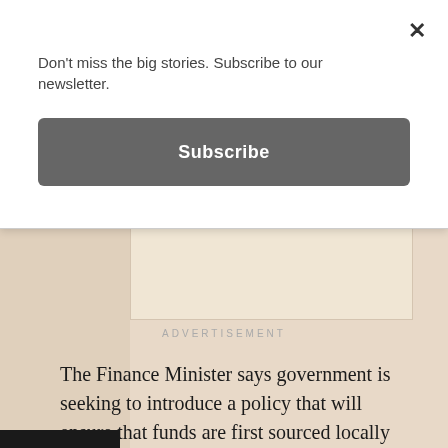Don't miss the big stories. Subscribe to our newsletter.
Subscribe
ADVERTISEMENT
The Finance Minister says government is seeking to introduce a policy that will ensure that funds are first sourced locally for domestic projects before external sources are considered.
“Government now in cabinet has agreed on a policy of local sourcing as a first act before people look outside. But if you look at agenda 111, previously 88, what the president has said and